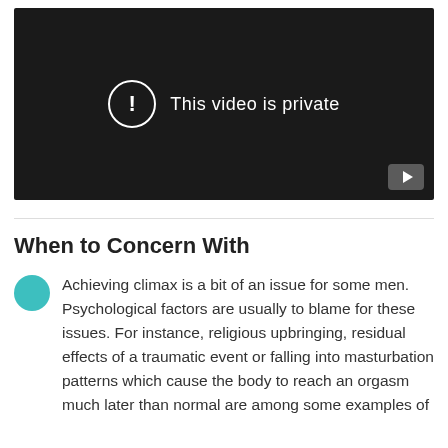[Figure (screenshot): Embedded video player showing 'This video is private' message with a YouTube play button in the lower right corner. Dark background with white text and circle icon.]
When to Concern With
Achieving climax is a bit of an issue for some men. Psychological factors are usually to blame for these issues. For instance, religious upbringing, residual effects of a traumatic event or falling into masturbation patterns which cause the body to reach an orgasm much later than normal are among some examples of